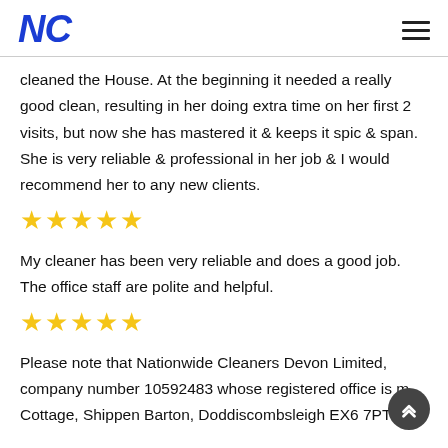NC
cleaned the House. At the beginning it needed a really good clean, resulting in her doing extra time on her first 2 visits, but now she has mastered it & keeps it spic & span. She is very reliable & professional in her job & I would recommend her to any new clients.
★★★★★
My cleaner has been very reliable and does a good job. The office staff are polite and helpful.
★★★★★
Please note that Nationwide Cleaners Devon Limited, company number 10592483 whose registered office is m Cottage, Shippen Barton, Doddiscombsleigh EX6 7PT is a